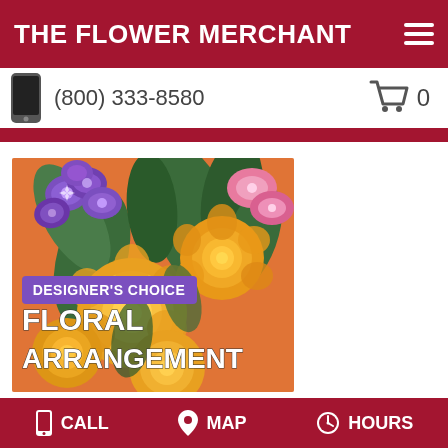THE FLOWER MERCHANT
(800) 333-8580
[Figure (photo): Floral arrangement featuring yellow roses and purple flowers with text overlay: DESIGNER'S CHOICE FLORAL ARRANGEMENT]
CALL   MAP   HOURS